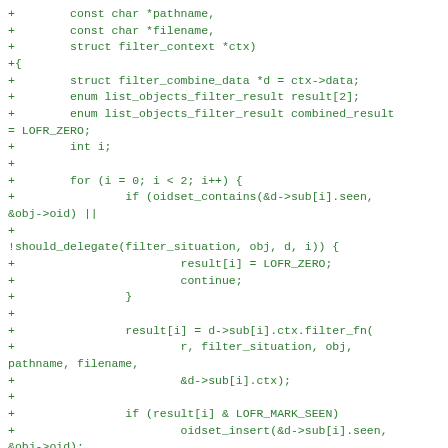code diff showing C function implementation with filter_combine logic